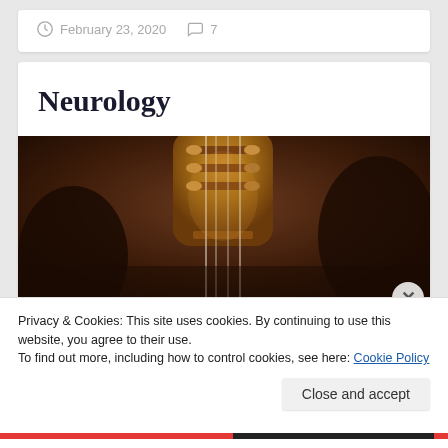February 23, 2020   7
Neurology
[Figure (photo): Close-up photograph of the head of a string instrument (violin/guitar) showing tuning pegs and strings in dark, warm-toned lighting]
Privacy & Cookies: This site uses cookies. By continuing to use this website, you agree to their use.
To find out more, including how to control cookies, see here: Cookie Policy
Close and accept